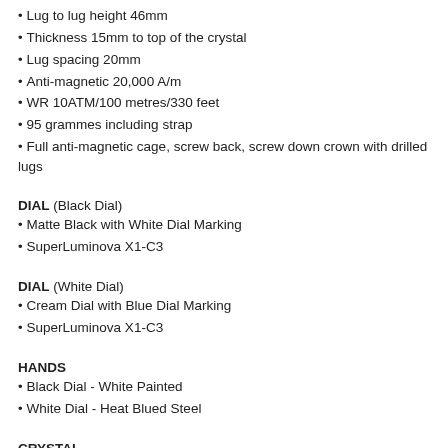Lug to lug height 46mm
Thickness 15mm to top of the crystal
Lug spacing 20mm
Anti-magnetic 20,000 A/m
WR 10ATM/100 metres/330 feet
95 grammes including strap
Full anti-magnetic cage, screw back, screw down crown with drilled lugs
DIAL (Black Dial)
Matte Black with White Dial Marking
SuperLuminova X1-C3
DIAL (White Dial)
Cream Dial with Blue Dial Marking
SuperLuminova X1-C3
HANDS
Black Dial - White Painted
White Dial - Heat Blued Steel
CRYSTAL
Flat Sapphire with anti-reflective coating on the underside